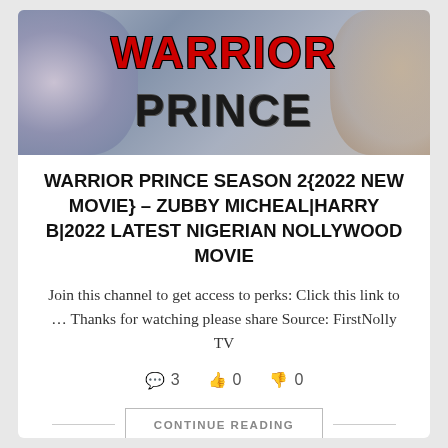[Figure (photo): Banner image with 'WARRIOR PRINCE' text overlay. 'WARRIOR' in red bold letters, 'PRINCE' in black bold letters, decorative background.]
WARRIOR PRINCE SEASON 2{2022 NEW MOVIE} – ZUBBY MICHEAL|HARRY B|2022 LATEST NIGERIAN NOLLYWOOD MOVIE
Join this channel to get access to perks: Click this link to … Thanks for watching please share Source: FirstNolly TV
💬 3  👍 0  👎 0